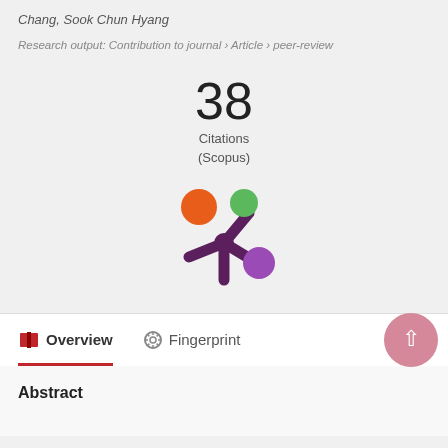Chang, Sook Chun Hyang
Research output: Contribution to journal › Article › peer-review
38 Citations (Scopus)
[Figure (logo): Altmetric logo - colorful asterisk-like symbol with orange, green, and purple circles on dark purple star shape]
Overview
Fingerprint
Abstract